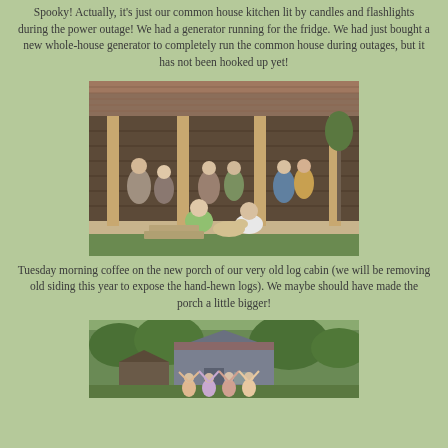Spooky!  Actually, it's just our common house kitchen lit by candles and flashlights during the power outage!  We had a generator running for the fridge.  We had just bought a new whole-house generator to completely run the common house during outages, but it has not been hooked up yet!
[Figure (photo): Group of people sitting and relaxing on the new porch of an old log cabin with a metal roof. A dog is also visible in the foreground.]
Tuesday morning coffee on the new porch of our very old log cabin (we will be removing old siding this year to expose the hand-hewn logs). We maybe should have made the porch a little bigger!
[Figure (photo): People with raised arms standing in front of a grey barn or outbuilding, surrounded by trees.]